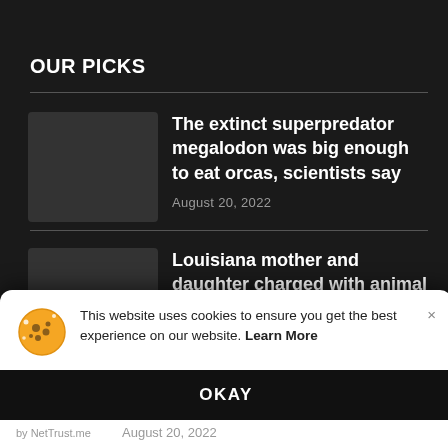OUR PICKS
The extinct superpredator megalodon was big enough to eat orcas, scientists say
August 20, 2022
Louisiana mother and daughter charged with animal cruelty after dog
This website uses cookies to ensure you get the best experience on our website. Learn More
OKAY
by NetTrust.me
August 20, 2022